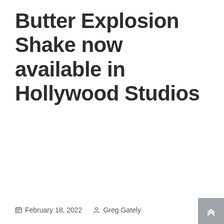Butter Explosion Shake now available in Hollywood Studios
February 18, 2022  Greg Gately